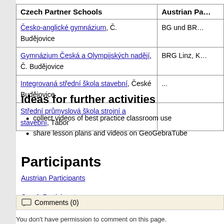| Czech Partner Schools | Austrian Pa… |
| --- | --- |
| Česko-anglické gymnázium, Č. Budějovice | BG und BR… |
| Gymnázium Česká a Olympijských nadějí, Č. Budějovice | BRG Linz, K… |
| Integrovaná střední škola stavební, České Budějovice | ... |
| Střední průmyslová škola strojní a stavební, Tábor |  |
Ideas for further activities
collect videos of best practice classroom use
share lesson plans and videos on GeoGebraTube
Participants
Austrian Participants
Czech Participants
Comments (0)
You don't have permission to comment on this page.